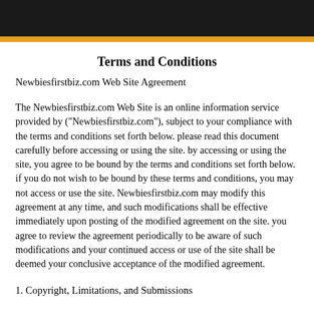Terms and Conditions
Newbiesfirstbiz.com Web Site Agreement
The Newbiesfirstbiz.com Web Site is an online information service provided by ("Newbiesfirstbiz.com"), subject to your compliance with the terms and conditions set forth below. please read this document carefully before accessing or using the site. by accessing or using the site, you agree to be bound by the terms and conditions set forth below. if you do not wish to be bound by these terms and conditions, you may not access or use the site. Newbiesfirstbiz.com may modify this agreement at any time, and such modifications shall be effective immediately upon posting of the modified agreement on the site. you agree to review the agreement periodically to be aware of such modifications and your continued access or use of the site shall be deemed your conclusive acceptance of the modified agreement.
1. Copyright, Limitations, and Submissions